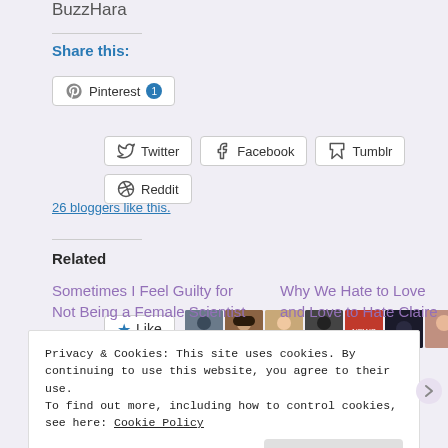BuzzHara
Share this:
[Figure (screenshot): Social sharing buttons: Twitter, Facebook, Tumblr, Reddit, Pinterest (with badge 1)]
[Figure (screenshot): Like button with star icon and 9 blogger avatar thumbnails]
26 bloggers like this.
Related
Sometimes I Feel Guilty for Not Being a Female Scientist
Why We Hate to Love and Love to Hate Claire
Privacy & Cookies: This site uses cookies. By continuing to use this website, you agree to their use.
To find out more, including how to control cookies, see here: Cookie Policy